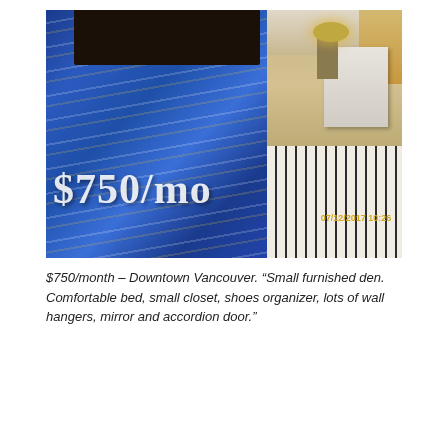[Figure (photo): Interior photo of a small furnished bedroom den showing a bed with blue striped comforter, dark headboard, nightstand with lamp, striped rug, and wooden window frame. Price overlay '$750/mo' in large white text. Timestamp '07/12/2017 10:26' visible in yellow.]
$750/month – Downtown Vancouver. "Small furnished den. Comfortable bed, small closet, shoes organizer, lots of wall hangers, mirror and accordion door."